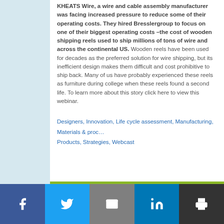KHEATS Wire, a wire and cable assembly manufacturer was facing increased pressure to reduce some of their operating costs. They hired Bresslergroup to focus on one of their biggest operating costs –the cost of wooden shipping reels used to ship millions of tons of wire and across the continental US. Wooden reels have been used for decades as the preferred solution for wire shipping, but its inefficient design makes them difficult and cost prohibitive to ship back. Many of us have probably experienced these reels as furniture during college when these reels found a second life. To learn more about this story click here to view this webinar.
Designers, Innovation, Life cycle assessment, Manufacturing, Materials & products, Strategies, Webcast
Facebook Twitter Email LinkedIn Print